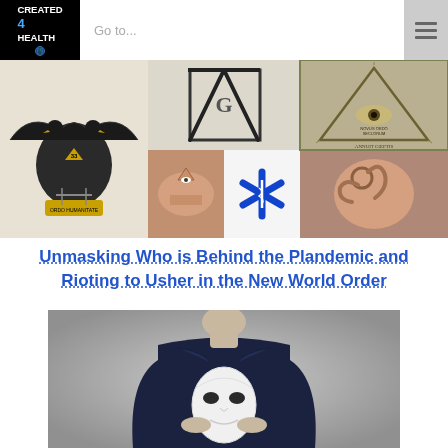CREATED 4 HEALTH — navigation header with logo and Go to... menu
[Figure (photo): Collage banner with Masonic double-headed eagle, square-and-compass symbol, illuminati pyramid eye on dollar, hand making triangle eye gesture, Star of Life medical symbol, and person making OK gesture]
Unmasking Who is Behind the Plandemic and Rioting to Usher in the New World Order
[Figure (photo): Person in dark suit holding a white theatrical mask behind their back, photographed from behind against gray background]